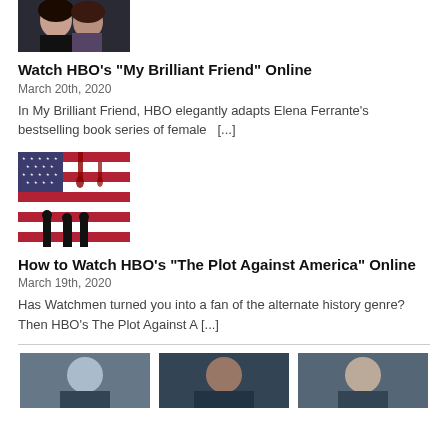[Figure (photo): Two women close together, dark hair, photo cropped at top of page]
Watch HBO's "My Brilliant Friend" Online
March 20th, 2020
In My Brilliant Friend, HBO elegantly adapts Elena Ferrante's bestselling book series of female  [...]
[Figure (photo): American flag with dark silhouetted figures standing in front, red and dark tones]
How to Watch HBO's "The Plot Against America" Online
March 19th, 2020
Has Watchmen turned you into a fan of the alternate history genre? Then HBO's The Plot Against A [...]
[Figure (photo): Three thumbnail images at the bottom of the page showing people]
[Figure (photo): Second thumbnail at bottom]
[Figure (photo): Third thumbnail at bottom]